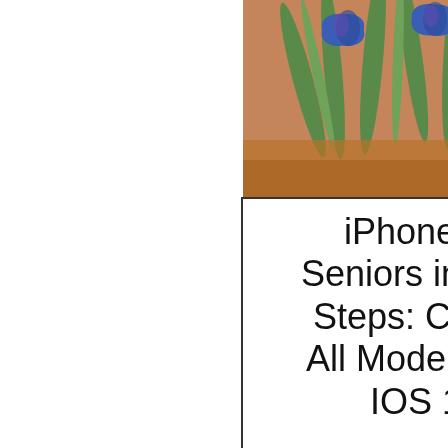[Figure (illustration): Van Gogh Irises painting showing blue iris flowers with green leaves on brown/orange background]
iPhone for Seniors in Easy Steps: Covers All Models with IOS 15
[Figure (illustration): Book cover: Google Apps for Seniors - A Practical Guide to Google Drive, Google Docs, Google Sheets, Google Slides, and Google Forms]